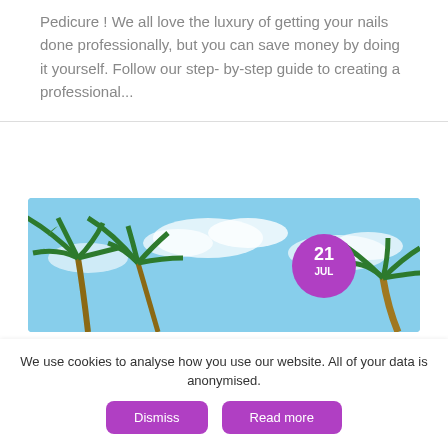Pedicure ! We all love the luxury of getting your nails done professionally, but you can save money by doing it yourself. Follow our step- by-step guide to creating a professional...
[Figure (photo): Photo of palm trees against a blue sky with clouds, viewed from below. A purple circular date badge shows '21 JUL' in the upper right area of the image.]
We use cookies to analyse how you use our website. All of your data is anonymised.